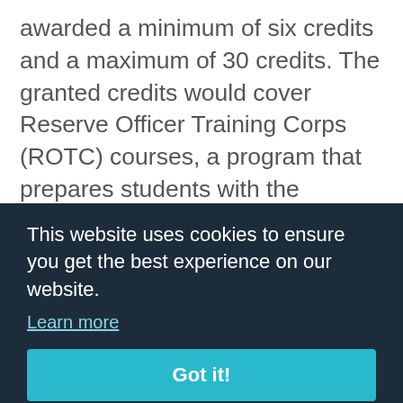awarded a minimum of six credits and a maximum of 30 credits. The granted credits would cover Reserve Officer Training Corps (ROTC) courses, a program that prepares students with the knowledge and required skills to become officers in the U.S. Military.
The road to turning these bills into laws is not over, however. The bills still have to be passed by the state Senate and then signed into law [partially obscured by cookie banner]
[Figure (screenshot): Cookie consent banner overlay with dark navy background. Contains text 'This website uses cookies to ensure you get the best experience on our website.' with a 'Learn more' link and a teal 'Got it!' button.]